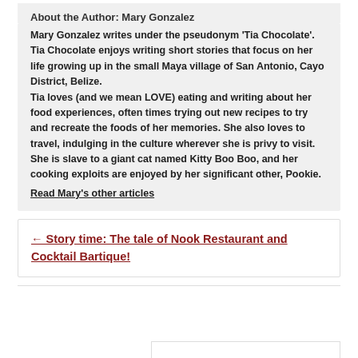About the Author: Mary Gonzalez
Mary Gonzalez writes under the pseudonym 'Tia Chocolate'. Tia Chocolate enjoys writing short stories that focus on her life growing up in the small Maya village of San Antonio, Cayo District, Belize.
Tia loves (and we mean LOVE) eating and writing about her food experiences, often times trying out new recipes to try and recreate the foods of her memories. She also loves to travel, indulging in the culture wherever she is privy to visit.
She is slave to a giant cat named Kitty Boo Boo, and her cooking exploits are enjoyed by her significant other, Pookie.
Read Mary's other articles
← Story time: The tale of Nook Restaurant and Cocktail Bartique!